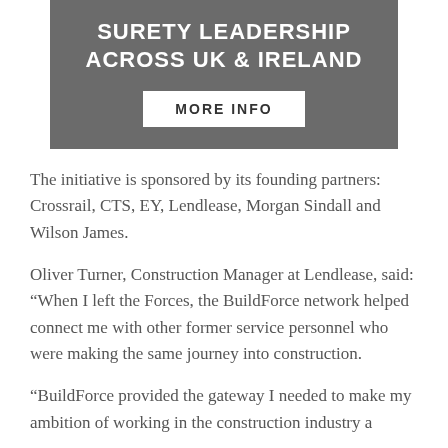[Figure (infographic): Dark grey banner with white bold text reading 'SURETY LEADERSHIP ACROSS UK & IRELAND' and a white button labeled 'MORE INFO']
The initiative is sponsored by its founding partners: Crossrail, CTS, EY, Lendlease, Morgan Sindall and Wilson James.
Oliver Turner, Construction Manager at Lendlease, said: “When I left the Forces, the BuildForce network helped connect me with other former service personnel who were making the same journey into construction.
“BuildForce provided the gateway I needed to make my ambition of working in the construction industry a